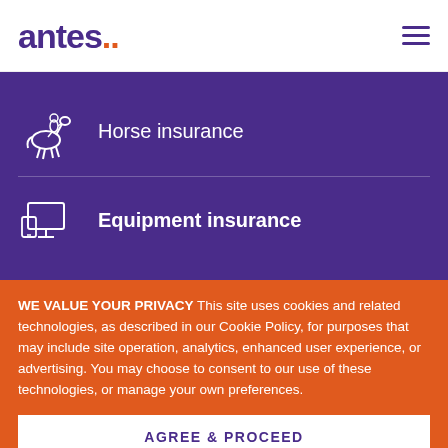antes..
[Figure (illustration): Horse and rider icon (white outline) representing horse insurance]
Horse insurance
[Figure (illustration): Monitor and tablet/phone icon (white outline) representing equipment insurance]
Equipment insurance
WE VALUE YOUR PRIVACY This site uses cookies and related technologies, as described in our Cookie Policy, for purposes that may include site operation, analytics, enhanced user experience, or advertising. You may choose to consent to our use of these technologies, or manage your own preferences.
AGREE & PROCEED